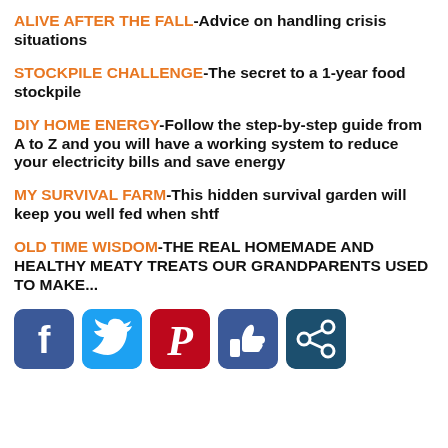ALIVE AFTER THE FALL- Advice on handling crisis situations
STOCKPILE CHALLENGE- The secret to a 1-year food stockpile
DIY HOME ENERGY- Follow the step-by-step guide from A to Z and you will have a working system to reduce your electricity bills and save energy
MY SURVIVAL FARM- This hidden survival garden will keep you well fed when shtf
OLD TIME WISDOM- THE REAL HOMEMADE AND HEALTHY MEATY TREATS OUR GRANDPARENTS USED TO MAKE...
[Figure (infographic): Row of 5 social media share icons: Facebook (blue), Twitter (light blue), Pinterest (red), Like/thumbs-up (dark blue), Share (dark teal)]